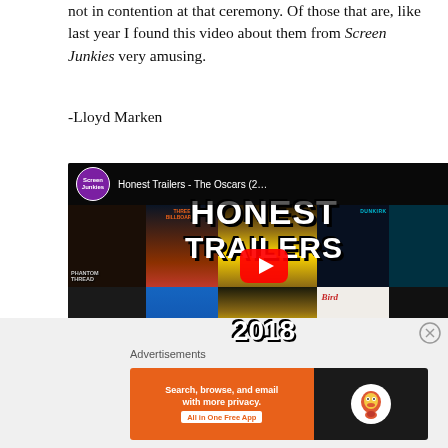not in contention at that ceremony. Of those that are, like last year I found this video about them from Screen Junkies very amusing.
-Lloyd Marken
[Figure (screenshot): YouTube video thumbnail for 'Honest Trailers - The Oscars (2018)' by Screen Junkies, showing a collage of Oscar-nominated movie posters with 'HONEST TRAILERS 2018' text and a YouTube play button overlay.]
Advertisements
[Figure (screenshot): DuckDuckGo advertisement banner: 'Search, browse, and email with more privacy. All in One Free App' on orange background, with DuckDuckGo duck logo on dark background.]